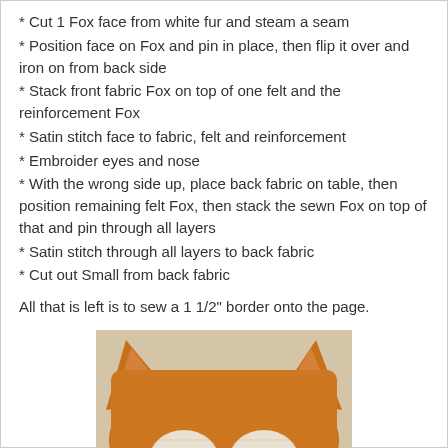* Cut 1 Fox face from white fur and steam a seam
* Position face on Fox and pin in place, then flip it over and iron on from back side
* Stack front fabric Fox on top of one felt and the reinforcement Fox
* Satin stitch face to fabric, felt and reinforcement
* Embroider eyes and nose
* With the wrong side up, place back fabric on table, then position remaining felt Fox, then stack the sewn Fox on top of that and pin through all layers
* Satin stitch through all layers to back fabric
* Cut out Small from back fabric
All that is left is to sew a 1 1/2" border onto the page.
[Figure (photo): Close-up photo of a handmade fox face made from orange/rust colored fabric with white eye patches and dark pupils, showing the ears and face of the fox craft project.]